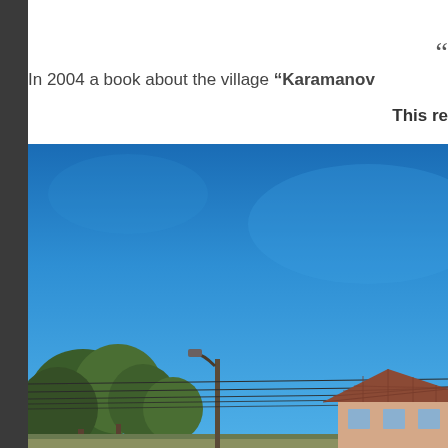“
In 2004 a book about the village “Karamanov
This re
[Figure (photo): Outdoor village scene under a bright blue sky. Trees visible on the left, a utility pole with wires in the middle ground, and a tiled-roof house on the right side. The sky dominates most of the image.]